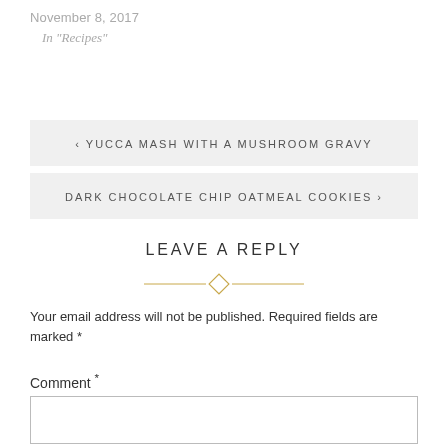November 8, 2017
In "Recipes"
‹ YUCCA MASH WITH A MUSHROOM GRAVY
DARK CHOCOLATE CHIP OATMEAL COOKIES ›
LEAVE A REPLY
Your email address will not be published. Required fields are marked *
Comment *